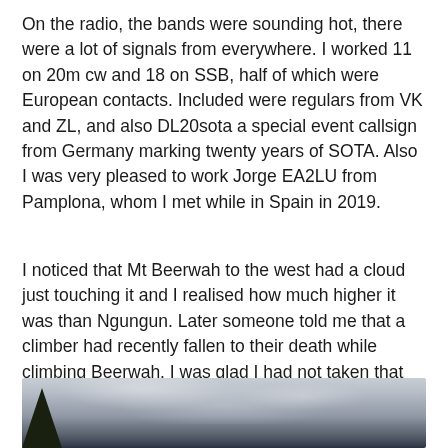On the radio, the bands were sounding hot, there were a lot of signals from everywhere. I worked 11 on 20m cw and 18 on SSB, half of which were European contacts. Included were regulars from VK and ZL, and also DL20sota a special event callsign from Germany marking twenty years of SOTA. Also I was very pleased to work Jorge EA2LU from Pamplona, whom I met while in Spain in 2019.
I noticed that Mt Beerwah to the west had a cloud just touching it and I realised how much higher it was than Ngungun. Later someone told me that a climber had recently fallen to their death while climbing Beerwah. I was glad I had not taken that one on myself.
[Figure (photo): Outdoor photograph showing a cloudy grey sky with some dark tree silhouettes visible at the bottom left corner. The sky is overcast with varying shades of grey clouds.]